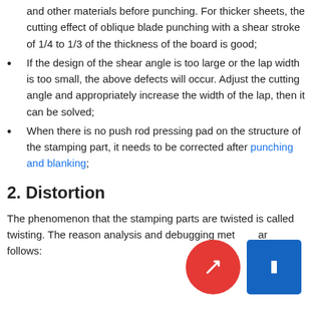and other materials before punching. For thicker sheets, the cutting effect of oblique blade punching with a shear stroke of 1/4 to 1/3 of the thickness of the board is good;
If the design of the shear angle is too large or the lap width is too small, the above defects will occur. Adjust the cutting angle and appropriately increase the width of the lap, then it can be solved;
When there is no push rod pressing pad on the structure of the stamping part, it needs to be corrected after punching and blanking;
2. Distortion
The phenomenon that the stamping parts are twisted is called twisting. The reason analysis and debugging methods are as follows: